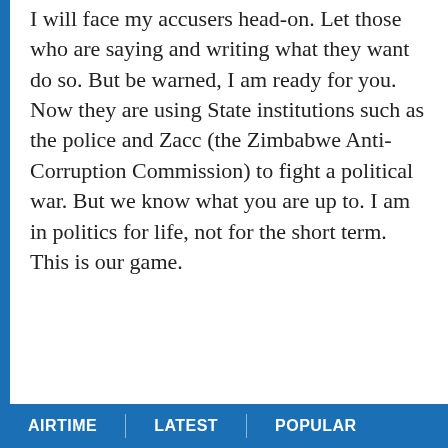I will face my accusers head-on. Let those who are saying and writing what they want do so. But be warned, I am ready for you. Now they are using State institutions such as the police and Zacc (the Zimbabwe Anti-Corruption Commission) to fight a political war. But we know what you are up to. I am in politics for life, not for the short term. This is our game.
AIRTIME | LATEST | POPULAR